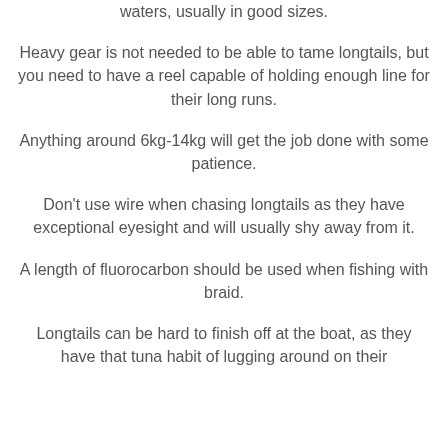waters, usually in good sizes.
Heavy gear is not needed to be able to tame longtails, but you need to have a reel capable of holding enough line for their long runs.
Anything around 6kg-14kg will get the job done with some patience.
Don't use wire when chasing longtails as they have exceptional eyesight and will usually shy away from it.
A length of fluorocarbon should be used when fishing with braid.
Longtails can be hard to finish off at the boat, as they have that tuna habit of lugging around on their